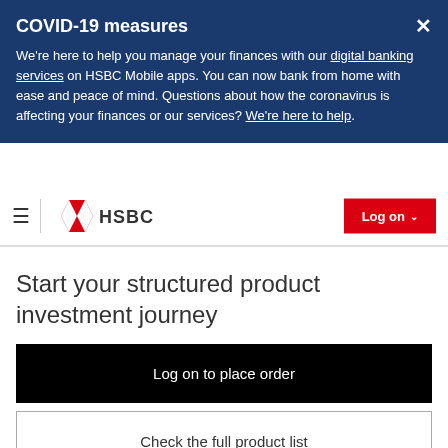COVID-19 measures
We're here to help you manage your finances with our digital banking services on HSBC Mobile apps. You can now bank from home with ease and peace of mind. Questions about how the coronavirus is affecting your finances or our services? We're here to help.
[Figure (logo): HSBC logo with hamburger menu and Log on button]
Start your structured product investment journey
Log on to place order
Check the full product list
Read all ESG/Investments FAQs